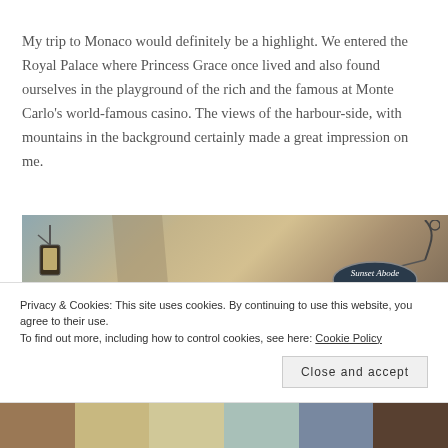My trip to Monaco would definitely be a highlight. We entered the Royal Palace where Princess Grace once lived and also found ourselves in the playground of the rich and the famous at Monte Carlo’s world-famous casino. The views of the harbour-side, with mountains in the background certainly made a great impression on me.
[Figure (photo): Photo of a rustic street scene with a decorative oval sign reading 'Sunset Abode' hanging from ironwork bracket on a stone wall, with a lantern visible on the left]
Privacy & Cookies: This site uses cookies. By continuing to use this website, you agree to their use.
To find out more, including how to control cookies, see here: Cookie Policy
[Figure (photo): Bottom strip showing a row of small thumbnail images]